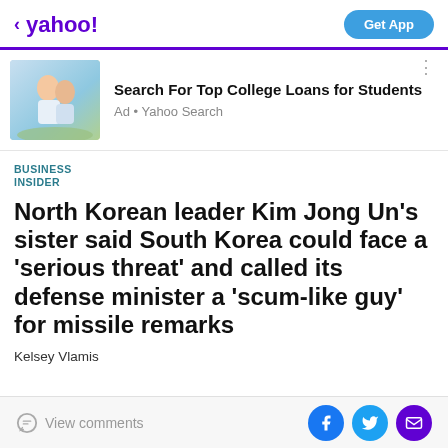< yahoo!    Get App
[Figure (screenshot): Ad banner with image of two young people laughing outdoors. Text: Search For Top College Loans for Students. Ad • Yahoo Search]
BUSINESS INSIDER
North Korean leader Kim Jong Un's sister said South Korea could face a 'serious threat' and called its defense minister a 'scum-like guy' for missile remarks
Kelsey Vlamis
View comments  [Facebook] [Twitter] [Mail]